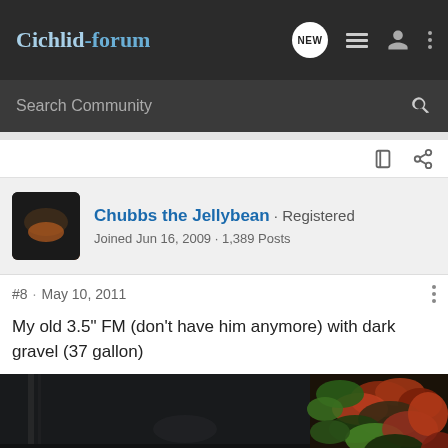Cichlid-forum
Search Community
Chubbs the Jellybean · Registered
Joined Jun 16, 2009 · 1,389 Posts
#8 · May 10, 2011
My old 3.5" FM (don't have him anymore) with dark gravel (37 gallon)
[Figure (photo): Dark aquarium photo with fish tank and red/green aquatic plants on right side]